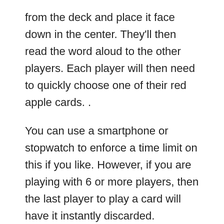from the deck and place it face down in the center. They'll then read the word aloud to the other players. Each player will then need to quickly choose one of their red apple cards. .
You can use a smartphone or stopwatch to enforce a time limit on this if you like. However, if you are playing with 6 or more players, then the last player to play a card will have it instantly discarded.
If you are playing with less than 6 players, then each player can play 2 cards. But only the first 5 cards put down can be considered. So, whether you are using a timer or not, every player will want to act fast.